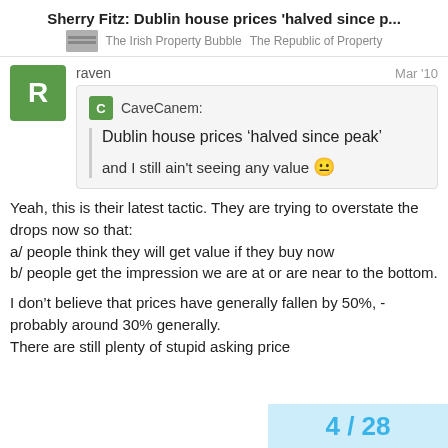Sherry Fitz: Dublin house prices 'halved since p...
The Irish Property Bubble   The Republic of Property
raven
Mar '10
CaveCanem:
Dublin house prices 'halved since peak'
and I still ain't seeing any value 😐
Yeah, this is their latest tactic. They are trying to overstate the drops now so that:
a/ people think they will get value if they buy now
b/ people get the impression we are at or are near to the bottom.

I don't believe that prices have generally fallen by 50%, - probably around 30% generally.
There are still plenty of stupid asking price
4 / 28